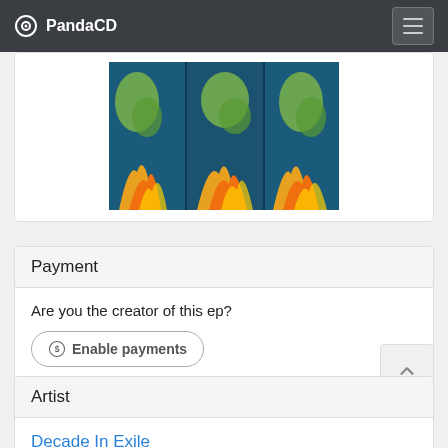PandaCD
[Figure (photo): Album artwork shown as a repeating triptych of colorful images with blue and orange/yellow abstract imagery resembling figures and flames]
Payment
Are you the creator of this ep?  Enable payments
Artist
Decade In Exile